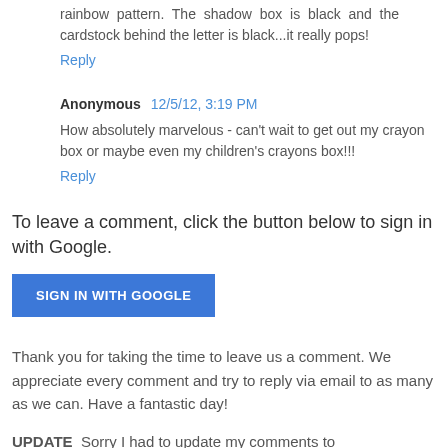rainbow pattern. The shadow box is black and the cardstock behind the letter is black...it really pops!
Reply
Anonymous  12/5/12, 3:19 PM
How absolutely marvelous - can't wait to get out my crayon box or maybe even my children's crayons box!!!
Reply
To leave a comment, click the button below to sign in with Google.
SIGN IN WITH GOOGLE
Thank you for taking the time to leave us a comment. We appreciate every comment and try to reply via email to as many as we can. Have a fantastic day!
UPDATE  Sorry I had to update my comments to